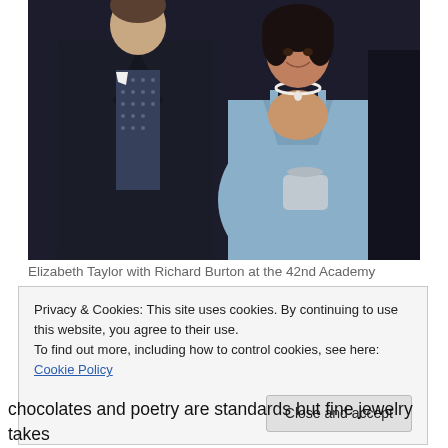[Figure (photo): Elizabeth Taylor and Richard Burton at a formal event. The man on the left wears a black tuxedo with a patterned vest and bow tie. The woman on the right wears a light blue dress and pearl necklace, holding a small purse.]
Elizabeth Taylor with Richard Burton at the 42nd Academy
Privacy & Cookies: This site uses cookies. By continuing to use this website, you agree to their use.
To find out more, including how to control cookies, see here: Cookie Policy
chocolates and poetry are standards but fine jewelry takes